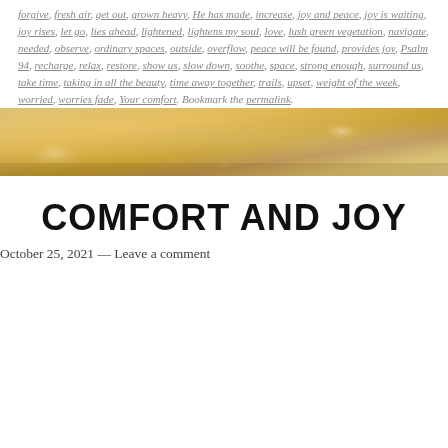forgive, fresh air, get out, grown heavy, He has made, increase, joy and peace, joy is waiting, joy rises, let go, lies ahead, lightened, lightens my soul, love, lush green vegetation, navigate, needed, observe, ordinary spaces, outside, overflow, peace will be found, provides joy, Psalm 94, recharge, relax, restore, show us, slow down, soothe, space, strong enough, surround us, take time, taking in all the beauty, time away together, trails, upset, weight of the week, worried, worries fade, Your comfort. Bookmark the permalink.
[Figure (photo): A warm golden bokeh outdoor photo band, featuring soft golden and amber tones with blurred natural vegetation in the background.]
COMFORT AND JOY
October 25, 2021 — Leave a comment